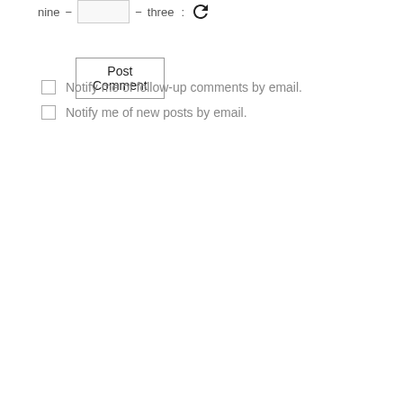nine − [input] − three : [refresh icon]
Post Comment
Notify me of follow-up comments by email.
Notify me of new posts by email.